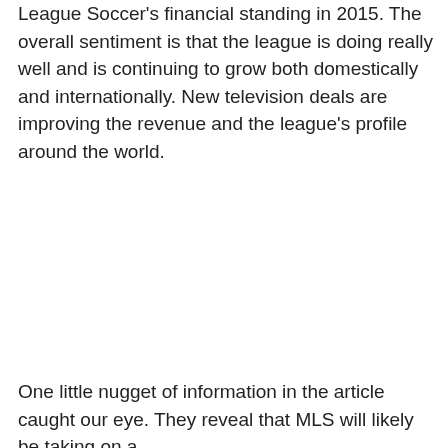League Soccer's financial standing in 2015. The overall sentiment is that the league is doing really well and is continuing to grow both domestically and internationally. New television deals are improving the revenue and the league's profile around the world.
One little nugget of information in the article caught our eye. They reveal that MLS will likely be taking on a